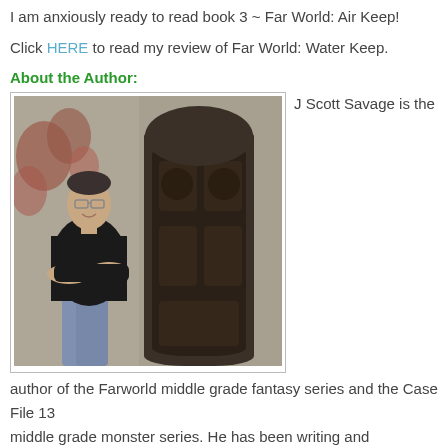I am anxiously ready to read book 3 ~ Far World: Air Keep!
Click HERE to read my review of Far World: Water Keep.
About the Author:
[Figure (photo): Photo of J Scott Savage, a middle-aged man with glasses and short dark hair, wearing a black polo shirt and jeans, standing with arms crossed in front of an ornate dark metal door set in a stone wall with red ivy.]
J Scott Savage is the author of the Farworld middle grade fantasy series and the Case File 13 middle grade monster series. He has been writing and publishing books